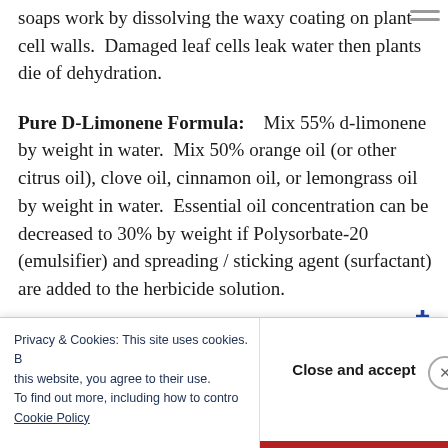soaps work by dissolving the waxy coating on plant cell walls.  Damaged leaf cells leak water then plants die of dehydration.
Pure D-Limonene Formula:    Mix 55% d-limonene by weight in water.  Mix 50% orange oil (or other citrus oil), clove oil, cinnamon oil, or lemongrass oil by weight in water.  Essential oil concentration can be decreased to 30% by weight if Polysorbate-20 (emulsifier) and spreading / sticking agent (surfactant) are added to the herbicide solution.
Privacy & Cookies: This site uses cookies. By continuing to use this website, you agree to their use. To find out more, including how to control cookies, see here: Cookie Policy
Close and accept